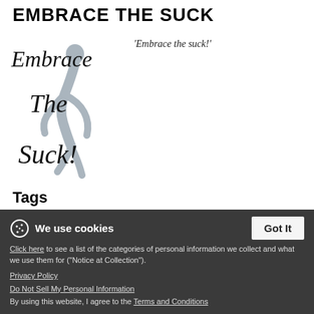EMBRACE THE SUCK
[Figure (illustration): Book cover illustration showing stylized hand-lettered text 'Embrace The Suck!' with a silhouetted running figure in gray behind the text]
'Embrace the suck!'
Tags
running  Sport  3  embrace  embracement
We use cookies
Click here to see a list of the categories of personal information we collect and what we use them for ("Notice at Collection").
Privacy Policy
Do Not Sell My Personal Information
By using this website, I agree to the Terms and Conditions